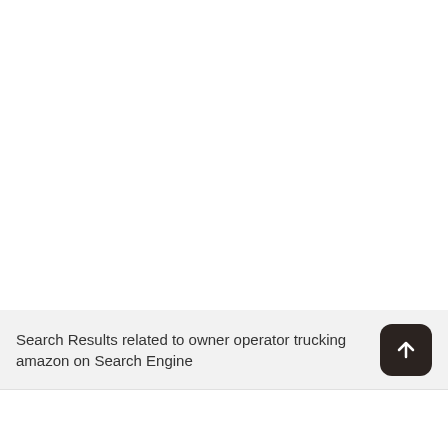Search Results related to owner operator trucking amazon on Search Engine